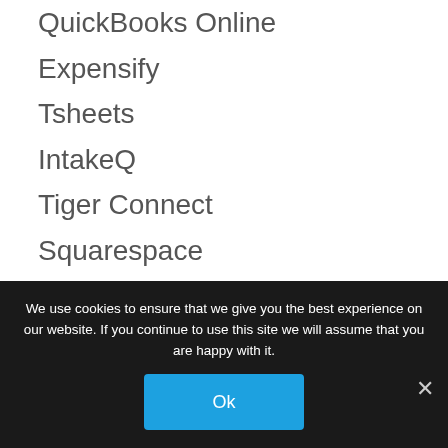QuickBooks Online
Expensify
Tsheets
IntakeQ
Tiger Connect
Squarespace
Dubsado
Asana
ClickUp
GSuite
Office 365
Zoom
We use cookies to ensure that we give you the best experience on our website. If you continue to use this site we will assume that you are happy with it.